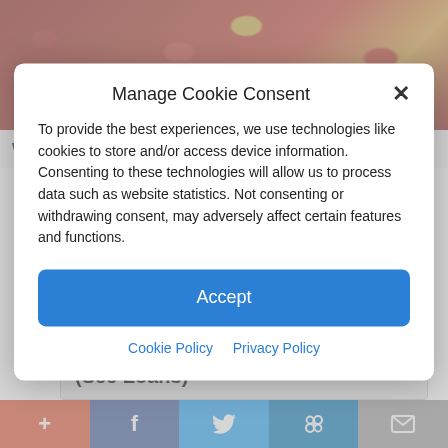[Figure (photo): Close-up photo of kidney beans with a golden bean in the center, reddish-brown beans surrounding it]
Why Doctors In The Know No Longer
See The Country In Your Own RV (See Loans)
Manage Cookie Consent
To provide the best experiences, we use technologies like cookies to store and/or access device information. Consenting to these technologies will allow us to process data such as website statistics. Not consenting or withdrawing consent, may adversely affect certain features and functions.
Accept
Cookie Policy   Privacy Policy